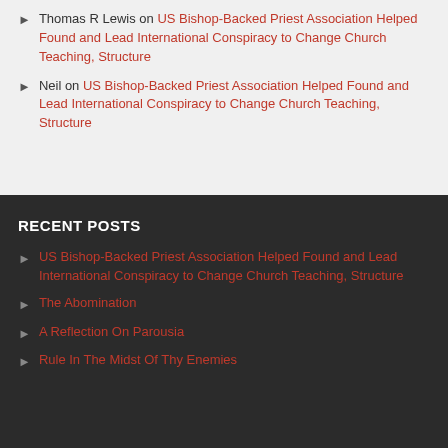Thomas R Lewis on US Bishop-Backed Priest Association Helped Found and Lead International Conspiracy to Change Church Teaching, Structure
Neil on US Bishop-Backed Priest Association Helped Found and Lead International Conspiracy to Change Church Teaching, Structure
RECENT POSTS
US Bishop-Backed Priest Association Helped Found and Lead International Conspiracy to Change Church Teaching, Structure
The Abomination
A Reflection On Parousia
Rule In The Midst Of Thy Enemies